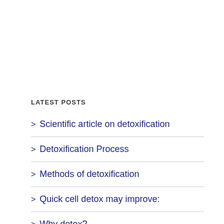LATEST POSTS
Scientific article on detoxification
Detoxification Process
Methods of detoxification
Quick cell detox may improve:
Why detox?